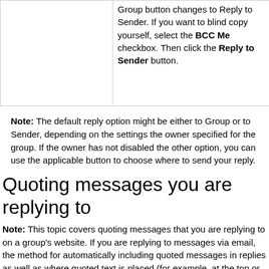|  |  |
| --- | --- |
|  | Group button changes to Reply to Sender. If you want to blind copy yourself, select the BCC Me checkbox. Then click the Reply to Sender button. |
Note: The default reply option might be either to Group or to Sender, depending on the settings the owner specified for the group. If the owner has not disabled the other option, you can use the applicable button to choose where to send your reply.
Quoting messages you are replying to
Note: This topic covers quoting messages that you are replying to on a group's website. If you are replying to messages via email, the method for automatically including quoted messages in replies as well as where quoted text is placed (for example, at the top or bottom of the email) depend on the specific email application you are using.